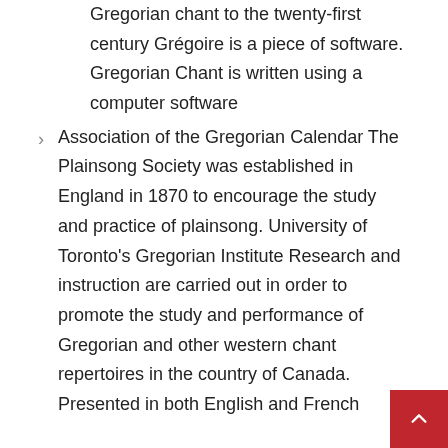Gregorian chant to the twenty-first century Grégoire is a piece of software. Gregorian Chant is written using a computer software
Association of the Gregorian Calendar The Plainsong Society was established in England in 1870 to encourage the study and practice of plainsong. University of Toronto's Gregorian Institute Research and instruction are carried out in order to promote the study and performance of Gregorian and other western chant repertoires in the country of Canada. Presented in both English and French